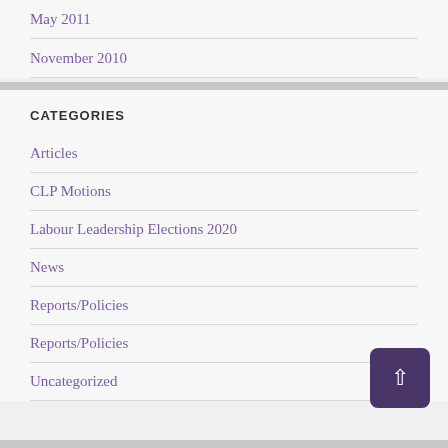May 2011
November 2010
CATEGORIES
Articles
CLP Motions
Labour Leadership Elections 2020
News
Reports/Policies
Reports/Policies
Uncategorized